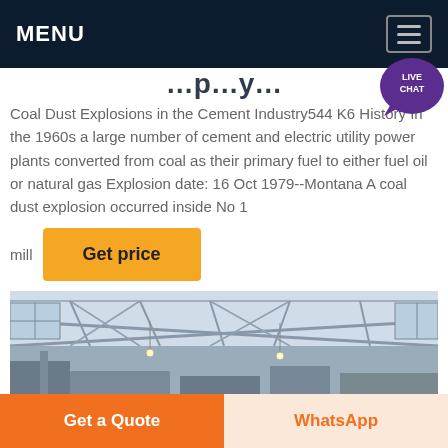MENU
Coal Dust Explosions in the Cement Industry544 K6 History In the 1960s a large number of cement and electric utility power plants converted from coal as their primary fuel to either fuel oil or natural gas Explosion date: 16 Oct 1979--Montana A coal dust explosion occurred inside No 1 mill
[Figure (other): Yellow 'Get price' button]
[Figure (photo): Interior of an industrial building with steel roof trusses and large windows, showing a factory or warehouse space]
Get a Quote   WhatsApp